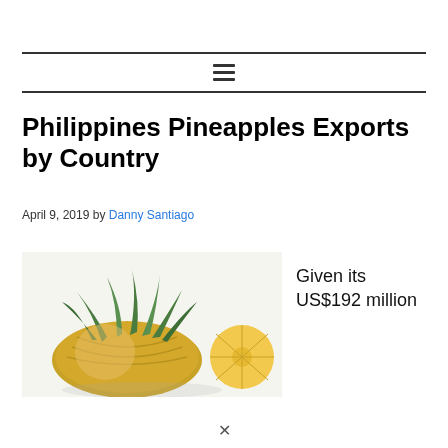≡
Philippines Pineapples Exports by Country
April 9, 2019 by Danny Santiago
[Figure (photo): Close-up photo of a pineapple cut in half showing the crown and yellow flesh]
Given its US$192 million